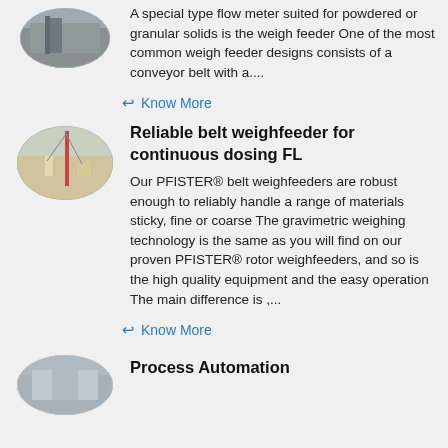[Figure (photo): Oval/circular thumbnail image of an industrial facility, partially visible at top of page]
A special type flow meter suited for powdered or granular solids is the weigh feeder One of the most common weigh feeder designs consists of a conveyor belt with a....
Know More
[Figure (photo): Oval thumbnail image of a construction or industrial site with a tall tower or crane structure]
Reliable belt weighfeeder for continuous dosing FL
Our PFISTER® belt weighfeeders are robust enough to reliably handle a range of materials sticky, fine or coarse The gravimetric weighing technology is the same as you will find on our proven PFISTER® rotor weighfeeders, and so is the high quality equipment and the easy operation The main difference is ,...
Know More
[Figure (photo): Oval thumbnail image at bottom, partially visible, appears to be industrial equipment]
Process Automation